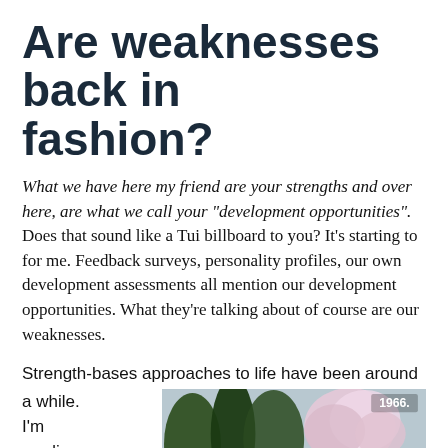Are weaknesses back in fashion?
What we have here my friend are your strengths and over here, are what we call your “development opportunities”. Does that sound like a Tui billboard to you? It’s starting to for me. Feedback surveys, personality profiles, our own development assessments all mention our development opportunities. What they’re talking about of course are our weaknesses.
Strength-bases approaches to life have been around a while. I’m reading Marcus
[Figure (photo): Outdoor garden/park scene with trees and flowers in bloom, dated 1966. People visible in the lower right corner of the photo.]